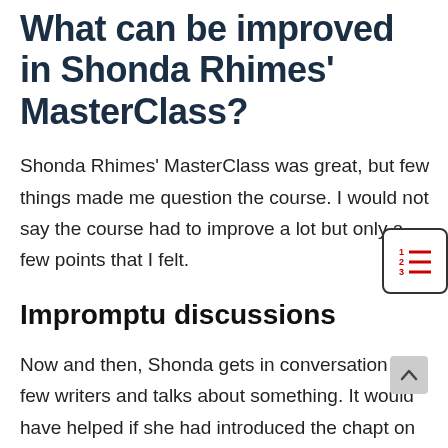What can be improved in Shonda Rhimes' MasterClass?
Shonda Rhimes' MasterClass was great, but few things made me question the course. I would not say the course had to improve a lot but only a few points that I felt.
Impromptu discussions
Now and then, Shonda gets in conversation with few writers and talks about something. It would have helped if she had introduced the chapt on what the teaching is about. Though trained and experienced writers can comprehend and